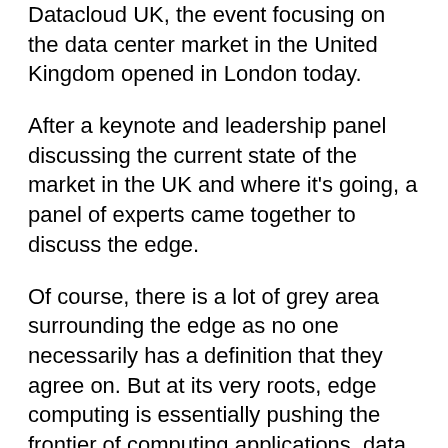Datacloud UK, the event focusing on the data center market in the United Kingdom opened in London today.
After a keynote and leadership panel discussing the current state of the market in the UK and where it's going, a panel of experts came together to discuss the edge.
Of course, there is a lot of grey area surrounding the edge as no one necessarily has a definition that they agree on. But at its very roots, edge computing is essentially pushing the frontier of computing applications, data, and services away from centralised nodes to the logical extremes of a network.
Colt DCS director portfolio propositions Matthew Cantwell said it best when he commented you'll probably get different answers from each member of the panel.